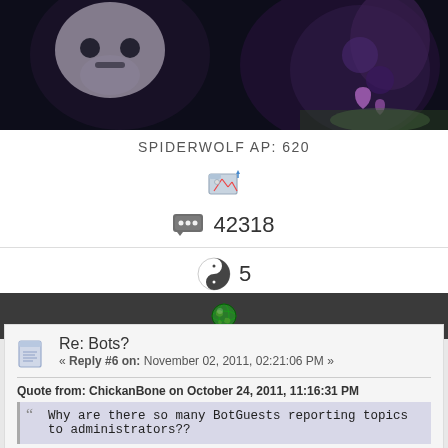[Figure (illustration): Dark fantasy banner art with skull and floral motifs in purple/black tones]
SPIDERWOLF AP: 620
[Figure (other): Broken image icon / folder icon]
42318
5
[Figure (other): Globe icon on dark bar]
Re: Bots?
« Reply #6 on: November 02, 2011, 02:21:06 PM »
Quote from: ChickanBone on October 24, 2011, 11:16:31 PM
Why are there so many BotGuests reporting topics to administrators??
BECAUSE YOU ARE HIGHLY OFFENSIVE
Logged